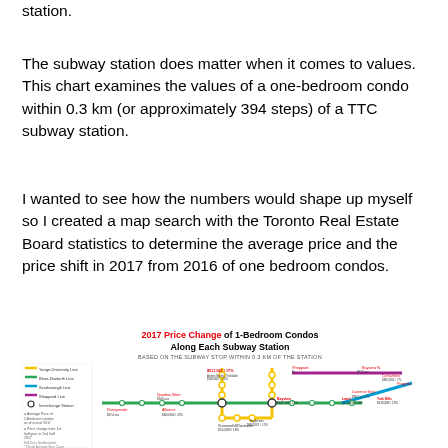station.
The subway station does matter when it comes to values. This chart examines the values of a one-bedroom condo within 0.3 km (or approximately 394 steps) of a TTC subway station.
I wanted to see how the numbers would shape up myself so I created a map search with the Toronto Real Estate Board statistics to determine the average price and the price shift in 2017 from 2016 of one bedroom condos.
[Figure (map): Map titled '2017 Price Change of 1-Bedroom Condos Along Each Subway Station' showing TTC subway lines (Yonge-University Line, Bloor-Danforth Line, Scarborough Line, Sheppard Line) with price data labels at various subway stations indicating average prices and year-over-year price changes for one-bedroom condos in 2017.]